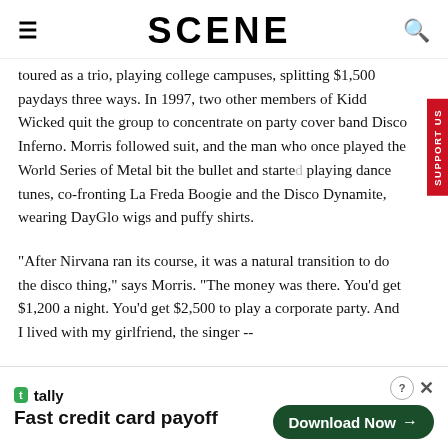SCENE
toured as a trio, playing college campuses, splitting $1,500 paydays three ways. In 1997, two other members of Kidd Wicked quit the group to concentrate on party cover band Disco Inferno. Morris followed suit, and the man who once played the World Series of Metal bit the bullet and started playing dance tunes, co-fronting La Freda Boogie and the Disco Dynamite, wearing DayGlo wigs and puffy shirts.
"After Nirvana ran its course, it was a natural transition to do the disco thing," says Morris. "The money was there. You'd get $1,200 a night. You'd get $2,500 to play a corporate party. And I lived with my girlfriend, the singer --
[Figure (screenshot): Tally advertisement banner: 'Fast credit card payoff' with Download Now button]